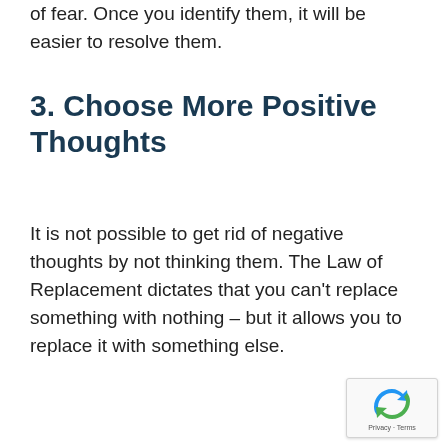of fear. Once you identify them, it will be easier to resolve them.
3. Choose More Positive Thoughts
It is not possible to get rid of negative thoughts by not thinking them. The Law of Replacement dictates that you can't replace something with nothing – but it allows you to replace it with something else.
[Figure (other): reCAPTCHA privacy badge with recycling-style arrow logo and Privacy · Terms text]